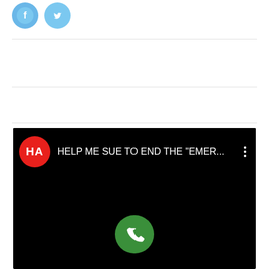[Figure (screenshot): Mobile app interface showing social media icons (Facebook, Twitter style circles) at top, horizontal dividers, and an Android notification bar on black background reading 'HELP ME SUE TO END THE "EMER...' with a red 'HA' logo circle and a green phone call button below.]